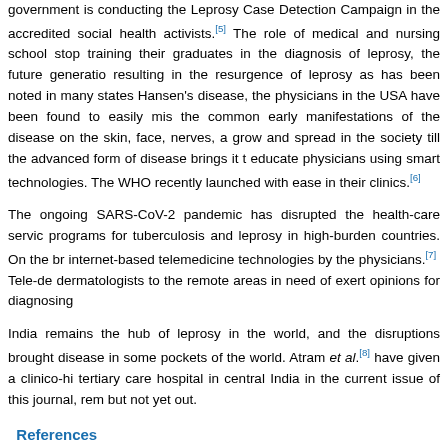government is conducting the Leprosy Case Detection Campaign in the accredited social health activists.[5] The role of medical and nursing school stop training their graduates in the diagnosis of leprosy, the future generatio resulting in the resurgence of leprosy as has been noted in many states Hansen's disease, the physicians in the USA have been found to easily mis the common early manifestations of the disease on the skin, face, nerves, a grow and spread in the society till the advanced form of disease brings it t educate physicians using smart technologies. The WHO recently launched with ease in their clinics.[6]
The ongoing SARS-CoV-2 pandemic has disrupted the health-care servic programs for tuberculosis and leprosy in high-burden countries. On the br internet-based telemedicine technologies by the physicians.[7] Tele-de dermatologists to the remote areas in need of exert opinions for diagnosing
India remains the hub of leprosy in the world, and the disruptions brought disease in some pockets of the world. Atram et al.[8] have given a clinico-hi tertiary care hospital in central India in the current issue of this journal, rem but not yet out.
References